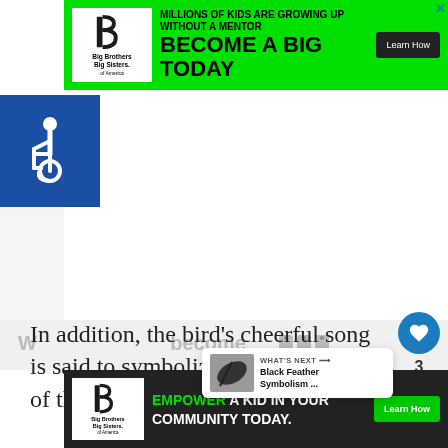[Figure (screenshot): Top advertisement banner: Big Brothers Big Sisters logo on green background, text 'MILLIONS OF KIDS ARE GROWING UP WITHOUT A MENTOR BECOME A BIG TODAY' with Learn How button and X close button]
[Figure (illustration): Blue square accessibility/wheelchair icon on left side]
In addition, the bird's cheerful song is said to symbolize the hope and joy of the holiday season.
[Figure (screenshot): What's Next tooltip showing Black Feather Symbolism article preview with dark feather image]
3
[Figure (screenshot): Bottom advertisement banner: Big Brothers Big Sisters, text 'EMPOWER A KID IN YOUR COMMUNITY TODAY.' with Learn How button on dark background]